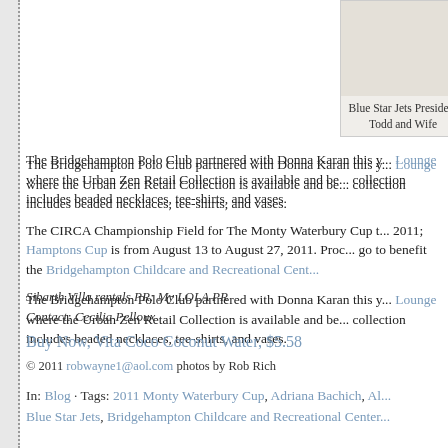[Figure (photo): Photo placeholder of Blue Star Jets President Todd and Wife]
Blue Star Jets President Todd and Wife
The Bridgehampton Polo Club partnered with Donna Karan this y... Lounge where the Urban Zen Retail Collection is available and be... collection includes beaded necklaces, tee-shirts, and vases.
The CIRCA Championship Field for The Monty Waterbury Cup t... 2011; Hamptons Cup is from August 13 to August 27, 2011. Proc... go to benefit the Bridgehampton Childcare and Recreational Cent...
Sibarth Villa rentals PR: My LOLA PR
Contact: Cecilia Pelloux
Buy Now, Vita Coco Coconut Water, $5.58
© 2011 robwayne1@aol.com photos by Rob Rich
In: Blog · Tags: 2011 Monty Waterbury Cup, Adriana Bachich, Al... Blue Star Jets, Bridgehampton Childcare and Recreational Center...